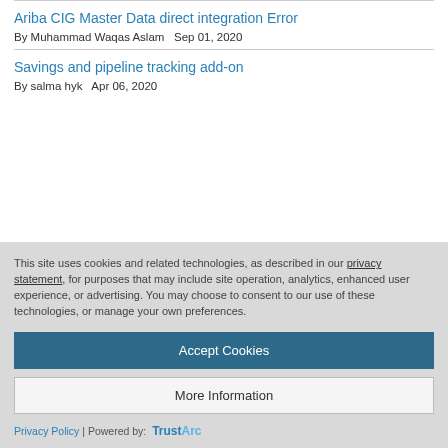Ariba CIG Master Data direct integration Error
By Muhammad Waqas Aslam   Sep 01, 2020
Savings and pipeline tracking add-on
By salma hyk   Apr 06, 2020
This site uses cookies and related technologies, as described in our privacy statement, for purposes that may include site operation, analytics, enhanced user experience, or advertising. You may choose to consent to our use of these technologies, or manage your own preferences.
Accept Cookies
More Information
Privacy Policy | Powered by: TrustArc